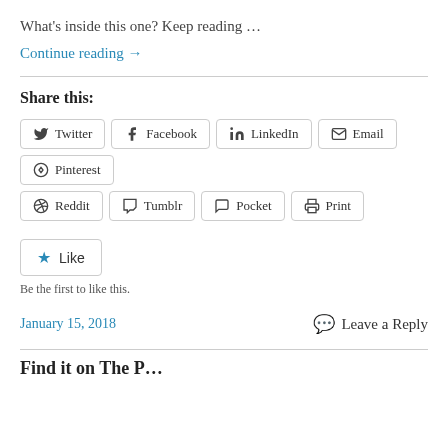What's inside this one? Keep reading …
Continue reading →
Share this:
Twitter
Facebook
LinkedIn
Email
Pinterest
Reddit
Tumblr
Pocket
Print
Like
Be the first to like this.
January 15, 2018
Leave a Reply
Find it on The P…